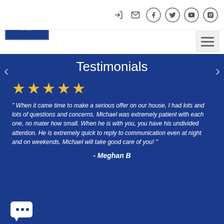[Figure (logo): Elite Advantage Real Estate logo - blue square with white text]
[Figure (screenshot): Navigation icons: login, email, facebook, twitter, youtube, instagram]
Testimonials
[Figure (infographic): 5 gold/yellow star rating]
" When it came time to make a serious offer on our house, I had lots and lots of questions and concerns. Michael was extremely patient with each one, no mater how small. When he is with you, you have his undivided attention. He is extremely quick to reply to communication even at night and on weekends. Michael will take good care of you! "
- Meghan B
[Figure (illustration): Chat bubble icon with three dots]